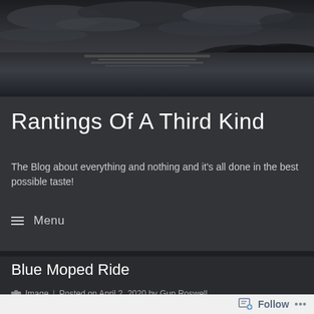[Figure (photo): Seascape with cloudy dark sky over water and hills on the horizon]
Rantings Of A Third Kind
The Blog about everything and nothing and it's all done in the best possible taste!
≡  Menu
Blue Moped Ride
Image  |  Posted on April 2, 2020 by Gun Roswell
Follow  •••